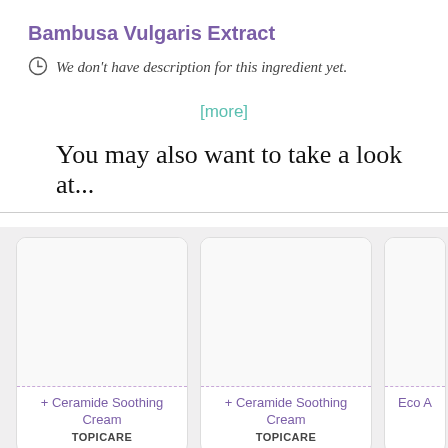Bambusa Vulgaris Extract
We don't have description for this ingredient yet.
[more]
You may also want to take a look at...
[Figure (other): Product card: + Ceramide Soothing Cream by TOPICARE]
[Figure (other): Product card: + Ceramide Soothing Cream by TOPICARE]
[Figure (other): Partial product card: Eco A... (truncated)]